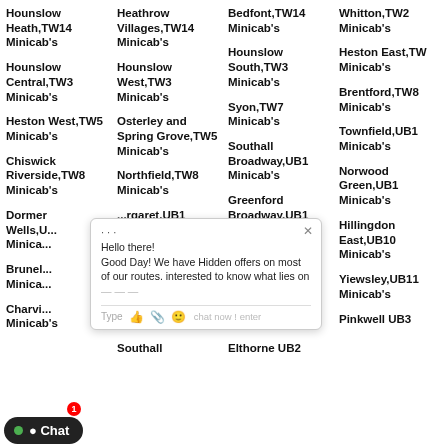Hounslow Heath,TW14 Minicab's
Heathrow Villages,TW14 Minicab's
Bedfont,TW14 Minicab's
Whitton,TW2 Minicab's
Hounslow Central,TW3 Minicab's
Hounslow West,TW3 Minicab's
Hounslow South,TW3 Minicab's
Heston East,TW Minicab's
Heston West,TW5 Minicab's
Osterley and Spring Grove,TW5 Minicab's
Syon,TW7 Minicab's
Brentford,TW8 Minicab's
Chiswick Riverside,TW8 Minicab's
Northfield,TW8 Minicab's
Southall Broadway,UB1 Minicab's
Townfield,UB1 Minicab's
Dormer Wells,... Minicab's
...rgaret,UB1 Minicab's
Greenford Broadway,UB1 Minicab's
Norwood Green,UB1 Minicab's
Brunel... Minicab's
...bridge ...rth,UB10 Minicab's
Uxbridge South,UB10 Minicab's
Hillingdon East,UB10 Minicab's
Charvi... Minicab's
...tenham,UB10 Minicab's
Botwell,UB11 Minicab's
Yiewsley,UB11 Minicab's
Southall
Elthorne UB2
Pinkwell UB3